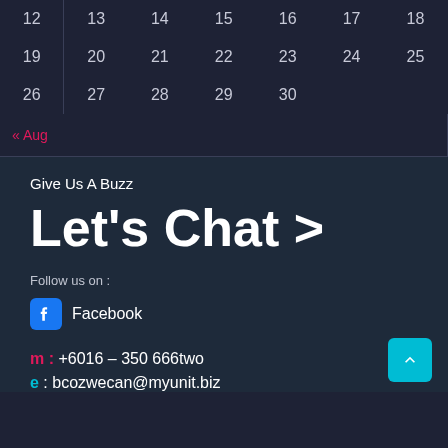| 12 | 13 | 14 | 15 | 16 | 17 | 18 |
| 19 | 20 | 21 | 22 | 23 | 24 | 25 |
| 26 | 27 | 28 | 29 | 30 |  |  |
« Aug
Give Us A Buzz
Let's Chat >
Follow us on :
Facebook
m : +6016 – 350 666two
e : bcozwecan@myunit.biz